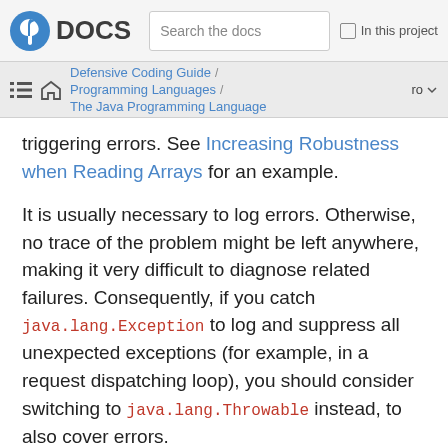Fedora DOCS | Search the docs | In this project
Defensive Coding Guide / Programming Languages / The Java Programming Language | ro
triggering errors. See Increasing Robustness when Reading Arrays for an example.
It is usually necessary to log errors. Otherwise, no trace of the problem might be left anywhere, making it very difficult to diagnose related failures. Consequently, if you catch java.lang.Exception to log and suppress all unexpected exceptions (for example, in a request dispatching loop), you should consider switching to java.lang.Throwable instead, to also cover errors.
The other reason mainly applies to such request